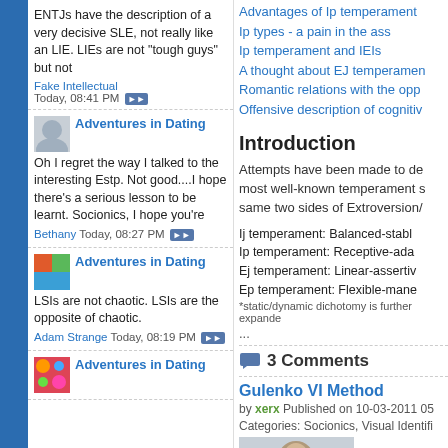ENTJs have the description of a very decisive SLE, not really like an LIE. LIEs are not "tough guys" but not
Fake Intellectual Today, 08:41 PM
Adventures in Dating
Oh I regret the way I talked to the interesting Estp. Not good....I hope there's a serious lesson to be learnt. Socionics, I hope you're
Bethany Today, 08:27 PM
Adventures in Dating
LSIs are not chaotic. LSIs are the opposite of chaotic.
Adam Strange Today, 08:19 PM
Adventures in Dating
Advantages of Ip temperament
Ip types - a pain in the ass
Ip temperament and IEIs
A thought about EJ temperament
Romantic relations with the opposite
Offensive description of cognitive
Introduction
Attempts have been made to describe the most well-known temperament system as same two sides of Extroversion/
Ij temperament: Balanced-stable
Ip temperament: Receptive-ada
Ej temperament: Linear-assertiv
Ep temperament: Flexible-mane
*static/dynamic dichotomy is further expande
...
3 Comments
Gulenko VI Method
by xerx Published on 10-03-2011 05
Categories: Socionics, Visual Identifi